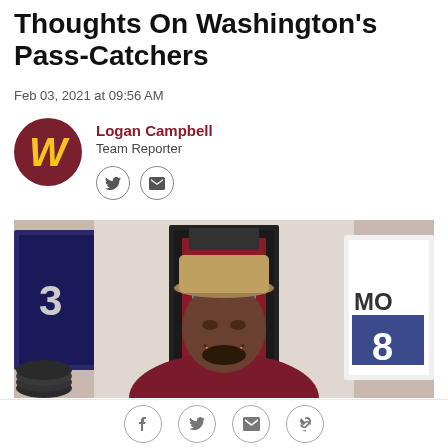Thoughts On Washington's Pass-Catchers
Feb 03, 2021 at 09:56 AM
Logan Campbell
Team Reporter
[Figure (photo): A smiling man wearing a burgundy hoodie and a tan cap, sitting in front of framed sports jerseys (including one reading 'MOS 8') and weights in what appears to be a home gym or media room.]
Social share icons: Facebook, Twitter, Email, Link